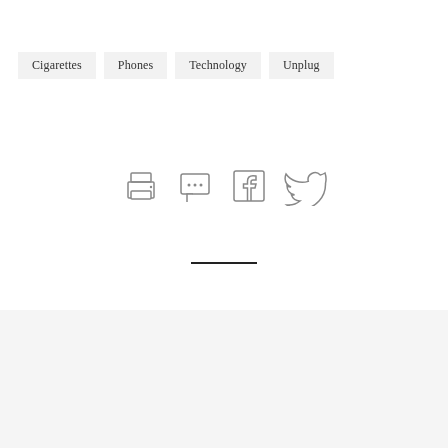Cigarettes
Phones
Technology
Unplug
[Figure (infographic): Row of four social/action icons: printer, chat/comment, Facebook, Twitter]
—
About
Far West Capital